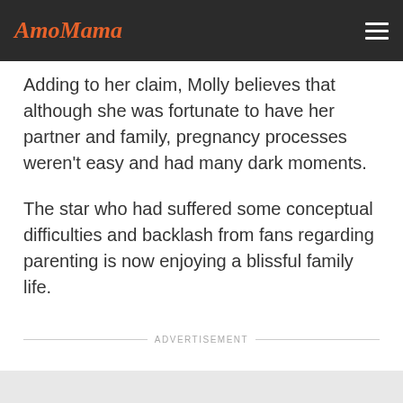AmoMama
Adding to her claim, Molly believes that although she was fortunate to have her partner and family, pregnancy processes weren't easy and had many dark moments.
The star who had suffered some conceptual difficulties and backlash from fans regarding parenting is now enjoying a blissful family life.
ADVERTISEMENT